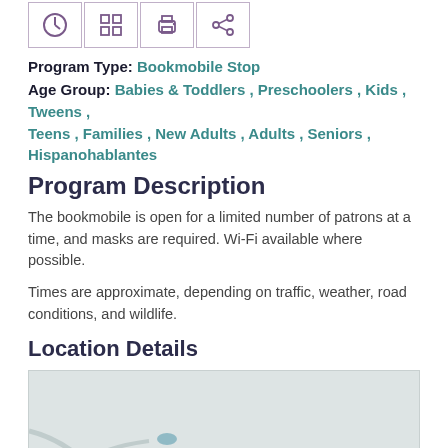[Figure (other): Row of four icon buttons with borders: clock/schedule icon, grid/calendar icon, printer icon, and share/upload icon]
Program Type: Bookmobile Stop
Age Group: Babies & Toddlers , Preschoolers , Kids , Tweens , Teens , Families , New Adults , Adults , Seniors , Hispanohablantes
Program Description
The bookmobile is open for a limited number of patrons at a time, and masks are required. Wi-Fi available where possible.
Times are approximate, depending on traffic, weather, road conditions, and wildlife.
Location Details
[Figure (map): Gray map showing road lines and a small blue location marker, with partial road label 'hwy' visible at left edge and a pin marker near the bottom center]